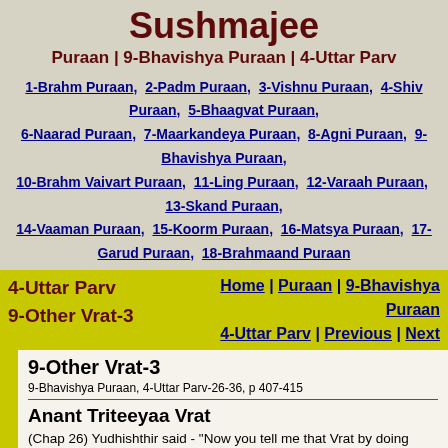Sushmajee
Puraan | 9-Bhavishya Puraan | 4-Uttar Parv
1-Brahm Puraan, 2-Padm Puraan, 3-Vishnu Puraan, 4-Shiv Puraan, 5-Bhaagvat Puraan, 6-Naarad Puraan, 7-Maarkandeya Puraan, 8-Agni Puraan, 9-Bhavishya Puraan, 10-Brahm Vaivart Puraan, 11-Ling Puraan, 12-Varaah Puraan, 13-Skand Puraan, 14-Vaaman Puraan, 15-Koorm Puraan, 16-Matsya Puraan, 17-Garud Puraan, 18-Brahmaand Puraan
4-Uttar Parv | 9-Other Vrat-3
Home | Puraan | 9-Bhavishya Puraan | 4-Uttar Parv | Previous | Next
9-Other Vrat-3
9-Bhavishya Puraan, 4-Uttar Parv-26-36, p 407-415
Anant Triteeyaa Vrat
(Chap 26) Yudhishthir said - "Now you tell me that Vrat by doing which one can get all kinds of pleasure, good health, and Mukti." Krishn said - " Now I tell you the same what Shiv told Paarvatee - the method of worshipping Lalitaa Jee